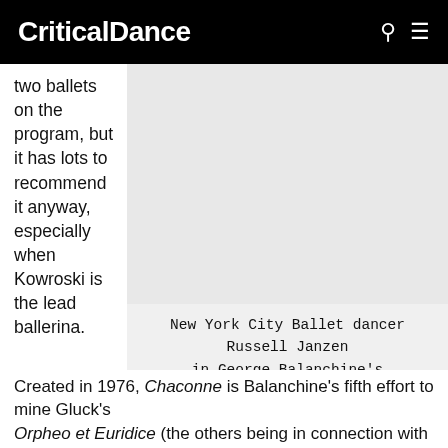CriticalDance
two ballets on the program, but it has lots to recommend it anyway, especially when Kowroski is the lead ballerina.
[Figure (photo): Image placeholder area showing New York City Ballet dancer Russell Janzen in George Balanchine's The Four Temperaments, photo by Paul Kolnik]
New York City Ballet dancer Russell Janzen in George Balanchine's "The Four Temperaments" Photo by Paul Kolnik
Created in 1976, Chaconne is Balanchine's fifth effort to mine Gluck's Orpheo et Euridice (the others being in connection with